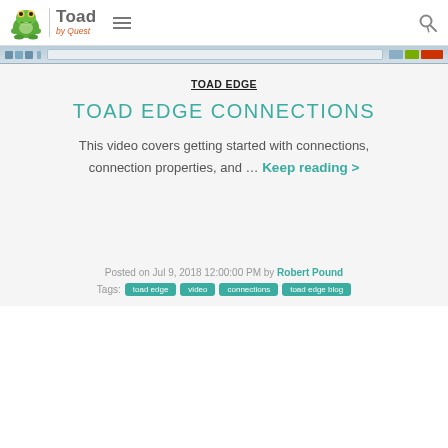Toad by Quest
[Figure (screenshot): Browser toolbar/address bar screenshot thumbnail]
TOAD EDGE
TOAD EDGE CONNECTIONS
This video covers getting started with connections, connection properties, and ... Keep reading >
Posted on Jul 9, 2018 12:00:00 PM by Robert Pound
Tags: